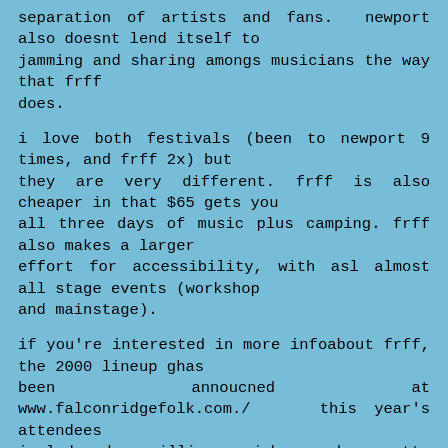separation of artists and fans.  newport also doesnt lend itself to
jamming and sharing amongs musicians the way that frff does.
i love both festivals (been to newport 9 times, and frff 2x) but
they are very different. frff is also cheaper in that $65 gets you
all three days of music plus camping. frff also makes a larger
effort for accessibility, with asl almost all stage events (workshop
and mainstage).
if you're interested in more infoabout frff, the 2000 lineup ghas
been annoucned at www.falconridgefolk.com./  this year's attendees
include dar williams, john gorka, patty larkin, vance gilbert,
eddie from ohio, janis ian, and many others.
amy p.          \ /  who holds your hand